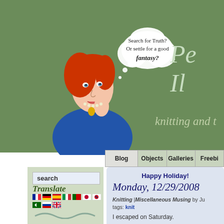[Figure (illustration): Header illustration of a comic-style woman with red hair in a blue outfit, thinking in a thought bubble: 'Search for Truth? Or settle for a good fantasy?' On green background with cursive site title 'Pe... Il...' and subtitle 'knitting and t...']
Pe
Il
knitting and t
Blog | Objects | Galleries | Freebi
search
Translate
[Figure (illustration): Country flag icons: French, German, Spanish, Italian, Portuguese, Japanese, Korean, Chinese/red flags and Arabic, Russian, UK flags]
Thought of the Minute
Those who cannot remember the past are condemned to repeat it.
(George Santayana)
Happy Holiday!
Monday, 12/29/2008
Knitting |Miscellaneous Musing by Ju tags: knit
I escaped on Saturday.